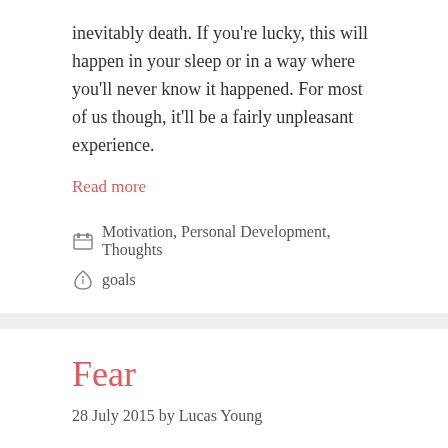inevitably death. If you're lucky, this will happen in your sleep or in a way where you'll never know it happened. For most of us though, it'll be a fairly unpleasant experience.
Read more
Motivation, Personal Development, Thoughts
goals
Fear
28 July 2015 by Lucas Young
This post comes from a series I wrote as part of a